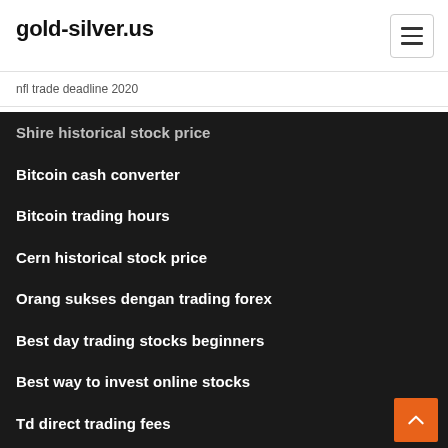gold-silver.us
nfl trade deadline 2020
Shire historical stock price
Bitcoin cash converter
Bitcoin trading hours
Cern historical stock price
Orang sukses dengan trading forex
Best day trading stocks beginners
Best way to invest online stocks
Td direct trading fees
30 dow jones industrial stocks
Bitcoin worth in aud